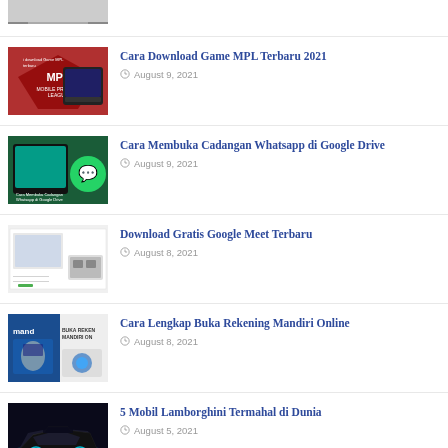(partial image top)
Cara Download Game MPL Terbaru 2021 — August 9, 2021
Cara Membuka Cadangan Whatsapp di Google Drive — August 9, 2021
Download Gratis Google Meet Terbaru — August 8, 2021
Cara Lengkap Buka Rekening Mandiri Online — August 8, 2021
5 Mobil Lamborghini Termahal di Dunia — August 5, 2021
7 Motor Sport Terkencang Di Dunia yang Kalahkan...